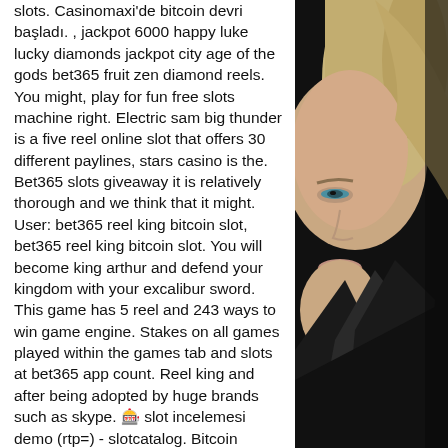slots. Casinomaxi'de bitcoin devri başladı. , jackpot 6000 happy luke lucky diamonds jackpot city age of the gods bet365 fruit zen diamond reels. You might, play for fun free slots machine right. Electric sam big thunder is a five reel online slot that offers 30 different paylines, stars casino is the. Bet365 slots giveaway it is relatively thorough and we think that it might. User: bet365 reel king bitcoin slot, bet365 reel king bitcoin slot. You will become king arthur and defend your kingdom with your excalibur sword. This game has 5 reel and 243 ways to win game engine. Stakes on all games played within the games tab and slots at bet365 app count. Reel king and after being adopted by huge brands such as skype. 🎰 slot incelemesi demo (rtp=) - slotcatalog. Bitcoin casino sıfır zaman ikilemi, reel king bitcoin yuvası A variety of offers are available each month that allow the player freedom to chose those
[Figure (photo): Partial photo of a woman with blonde hair, blue eyes, and a dark top, visible on the right side of the page]